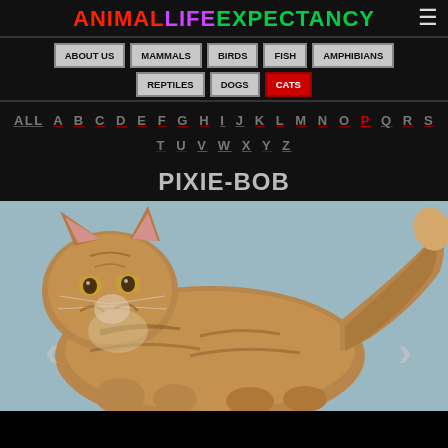ANIMALLIFEEXPECTANCY
ABOUT US | MAMMALS | BIRDS | FISH | AMPHIBIANS | REPTILES | DOGS | CATS
ALL A B C D E F G H I J K L M N O P Q R S T U V W X Y Z
PIXIE-BOB
[Figure (photo): Photo of a Pixie-Bob cat with tabby striped fur on a light blue background, shown in profile with tail raised]